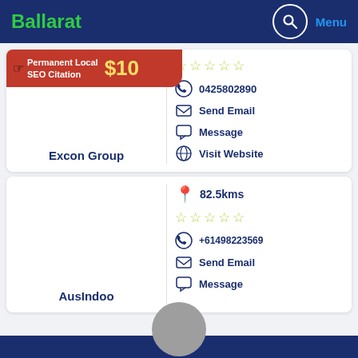Ballarat | Menu
[Figure (screenshot): SEO banner with text 'Permanent Local SEO Citation $10']
★★★★★ (empty stars)
0425802890
Send Email
Message
Visit Website
Excon Group
82.5kms
★★★★★ (empty stars)
+61498223569
Send Email
Message
AusIndoo